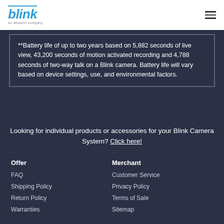blink an amazon company
**Battery life of up to two years based on 5,882 seconds of live view, 43,200 seconds of motion activated recording and 4,788 seconds of two-way talk on a Blink camera. Battery life will vary based on device settings, use, and environmental factors.
Looking for individual products or accessories for your Blink Camera System? Click here!
Offer
FAQ
Shipping Policy
Return Policy
Warranties
Merchant
Customer Service
Privacy Policy
Terms of Sale
Sitemap